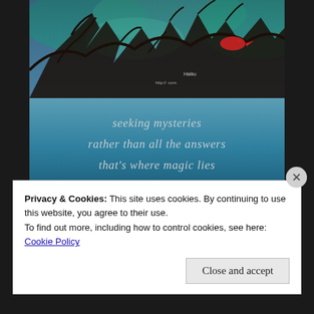[Figure (photo): Overhead photo of bare tree branches against a teal/blue sky with colorful iridescent overlay and a red bird/figure visible. Watermark text reads 'Haiku' and a website URL.]
seeking mysteries
rather than all the answers
that's where magic lies
Privacy & Cookies: This site uses cookies. By continuing to use this website, you agree to their use.
To find out more, including how to control cookies, see here:
Cookie Policy
Close and accept